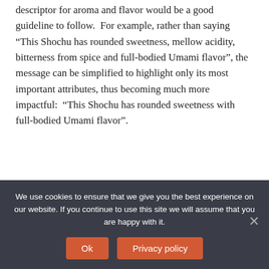descriptor for aroma and flavor would be a good guideline to follow.  For example, rather than saying “This Shochu has rounded sweetness, mellow acidity, bitterness from spice and full-bodied Umami flavor”, the message can be simplified to highlight only its most important attributes, thus becoming much more impactful:  “This Shochu has rounded sweetness with full-bodied Umami flavor”.
We use cookies to ensure that we give you the best experience on our website. If you continue to use this site we will assume that you are happy with it.